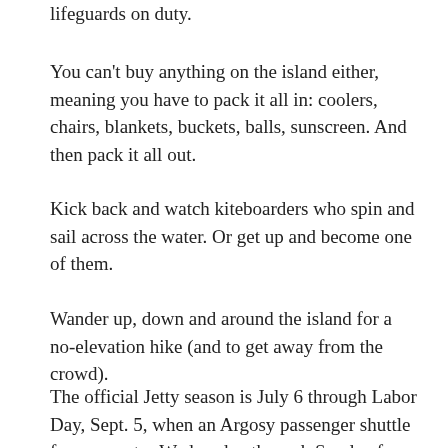lifeguards on duty.
You can't buy anything on the island either, meaning you have to pack it all in: coolers, chairs, blankets, buckets, balls, sunscreen. And then pack it all out.
Kick back and watch kiteboarders who spin and sail across the water. Or get up and become one of them.
Wander up, down and around the island for a no-elevation hike (and to get away from the crowd).
The official Jetty season is July 6 through Labor Day, Sept. 5, when an Argosy passenger shuttle ferry operates Wednesday through Sunday from Jetty Landing, adjacent to the boat launch at 10th